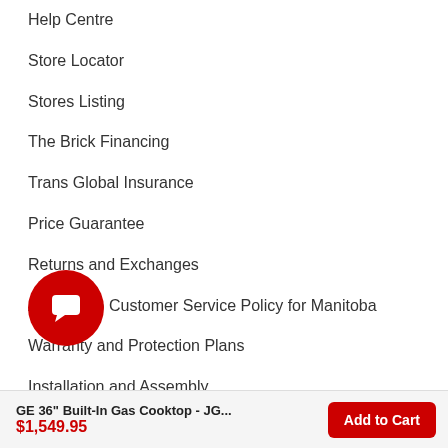Help Centre
Store Locator
Stores Listing
The Brick Financing
Trans Global Insurance
Price Guarantee
Returns and Exchanges
Accessible Customer Service Policy for Manitoba
Warranty and Protection Plans
Installation and Assembly
Appliance and Electronics Repairs
Shipping and Delivery
GE 36" Built-In Gas Cooktop - JG... $1,549.95